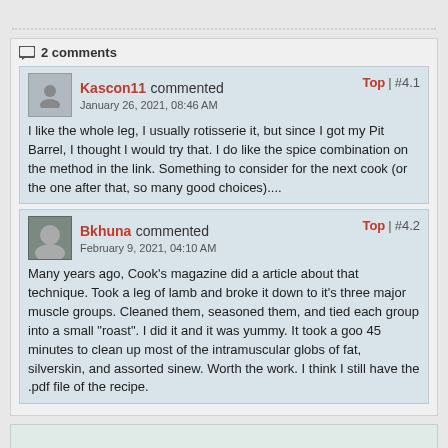2 comments
Kascon11 commented
January 26, 2021, 08:46 AM
Top | #4.1
I like the whole leg, I usually rotisserie it, but since I got my Pit Barrel, I thought I would try that. I do like the spice combination on the method in the link. Something to consider for the next cook (or the one after that, so many good choices)....
Bkhuna commented
February 9, 2021, 04:10 AM
Top | #4.2
Many years ago, Cook's magazine did a article about that technique. Took a leg of lamb and broke it down to it's three major muscle groups. Cleaned them, seasoned them, and tied each group into a small "roast". I did it and it was yummy. It took a goo 45 minutes to clean up most of the intramuscular globs of fat, silverskin, and assorted sinew. Worth the work. I think I still have the .pdf file of the recipe.